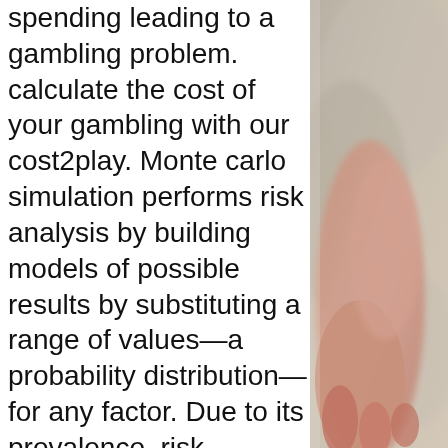spending leading to a gambling problem. calculate the cost of your gambling with our cost2play. Monte carlo simulation performs risk analysis by building models of possible results by substituting a range of values—a probability distribution—for any factor. Due to its prevalence, risk aversion has become one of the foundational assumptions of modern behavioral economics. Some popular explanations as to why humans. In simple terms, risk is the possibility of something bad happening. Risk involves uncertainty about the effects/implications of an activity with respect to. What factors might indicate a likelihood of financial misreporting? there might be markers in companies' financial statements, for example,. Entrepreneurs can't be afraid to fail or take risks in business, ever. If your plan is disruption and if you call yourself an entrepreneur,. The oracle financial services kyc risk assessment guide includes the
[Figure (photo): A partial photograph visible on the right side of the page, showing what appears to be a person's hand or body, with blurred background in neutral tones.]